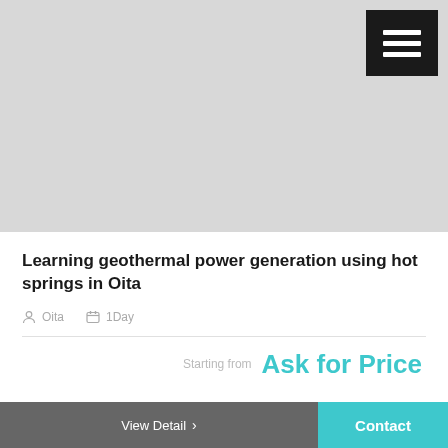[Figure (photo): Placeholder image area (light gray background) representing a photo of geothermal hot springs in Oita, with a dark hamburger menu button in the top-right corner.]
Learning geothermal power generation using hot springs in Oita
Oita   1Day
Starting from   Ask for Price
View Detail   Contact